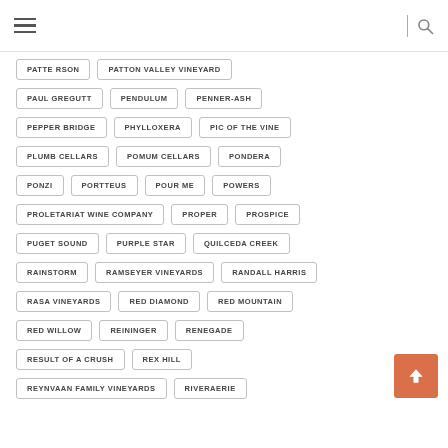Navigation header with hamburger menu and search icon
PATTERSON
PATTON VALLEY VINEYARD
PAUL GREGUTT
PENDULUM
PENNER-ASH
PEPPER BRIDGE
PHYLLOXERA
PIC OF THE VINE
PLUMB CELLARS
POMUM CELLARS
PONDERA
PONZI
PORTTEUS
POUR ME
POWERS
PROLETARIAT WINE COMPANY
PROPER
PROSPICE
PUGET SOUND
PURPLE STAR
QUILCEDA CREEK
RAINSTORM
RAMSEYER VINEYARDS
RANDALL HARRIS
RASA VINEYARDS
RED DIAMOND
RED MOUNTAIN
RED WILLOW
REININGER
RENEGADE
RESULT OF A CRUSH
REX HILL
REYNVAAN FAMILY VINEYARDS
RIVERAERIE